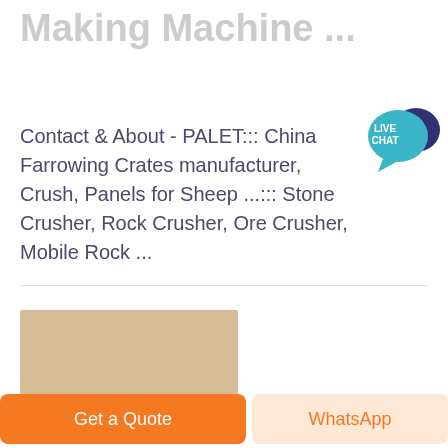Making Machine ...
Contact & About - PALET::: China Farrowing Crates manufacturer, Crush, Panels for Sheep ...::: Stone Crusher, Rock Crusher, Ore Crusher, Mobile Rock ...
[Figure (other): Tan/beige colored rectangular image placeholder]
Get a Quote
WhatsApp